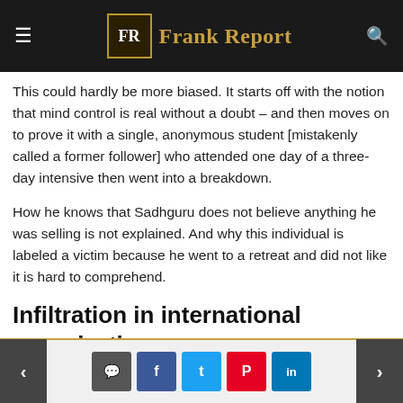Frank Report
This could hardly be more biased. It starts off with the notion that mind control is real without a doubt – and then moves on to prove it with a single, anonymous student [mistakenly called a former follower] who attended one day of a three-day intensive then went into a breakdown.
How he knows that Sadhguru does not believe anything he was selling is not explained. And why this individual is labeled a victim because he went to a retreat and did not like it is hard to comprehend.
Infiltration in international organizations